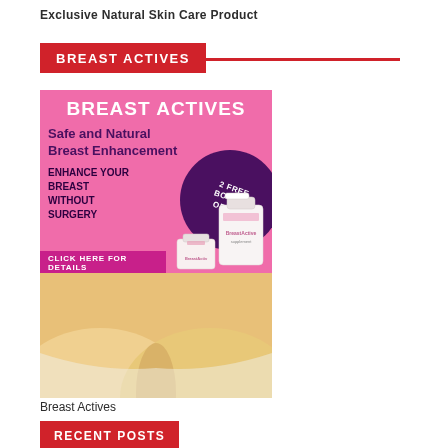Exclusive Natural Skin Care Product
BREAST ACTIVES
[Figure (photo): Advertisement for Breast Actives supplement showing pink background with product text 'Safe and Natural Breast Enhancement', 'Enhance Your Breast Without Surgery', '2 Free Bottle Offer' badge, product bottles, and photo of woman's chest area.]
Breast Actives
RECENT POSTS